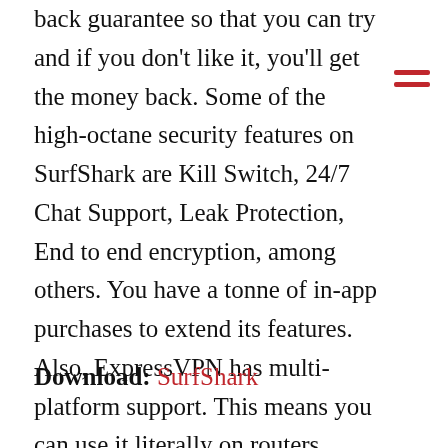back guarantee so that you can try and if you don't like it, you'll get the money back. Some of the high-octane security features on SurfShark are Kill Switch, 24/7 Chat Support, Leak Protection, End to end encryption, among others. You have a tonne of in-app purchases to extend its features. Also, ExpressVPN has multi-platform support. This means you can use it literally on routers, smart TVs, Mac, Linux, Android, iOS, and others as well.
Download: SurfShark